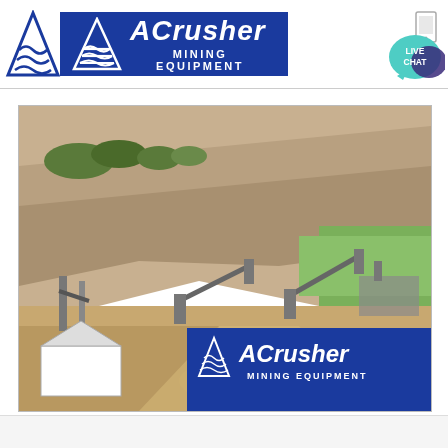[Figure (logo): ACrusher Mining Equipment logo with blue background, white triangle icon with wave lines, and italic ACrusher text]
[Figure (logo): Live chat speech bubble icon in teal/cyan with LIVE CHAT text]
[Figure (photo): Quarry/mining site photo showing large rock face cliff with mining equipment, conveyor belts, and a small white building at lower left. ACrusher Mining Equipment logo overlay in bottom right corner of photo.]